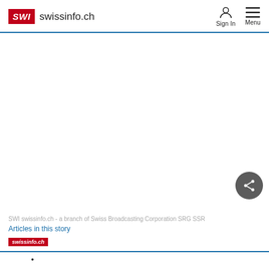SWI swissinfo.ch — Sign In  Menu
Why Switzerland matters for the tropical forests
While there is this deep-rooted tradition of respect of the environment in Switzerland it does not necessarily extend beyond the country's borders.
SWI swissinfo.ch - a branch of Swiss Broadcasting Corporation SRG SSR
Articles in this story
swissinfo.ch